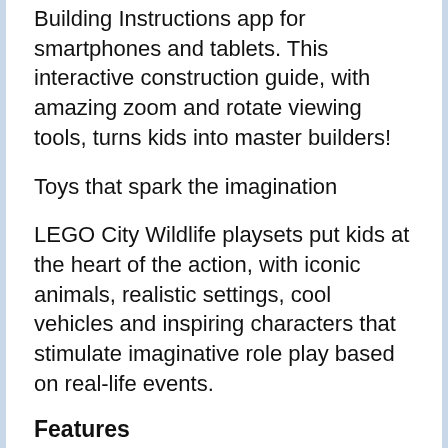Building Instructions app for smartphones and tablets. This interactive construction guide, with amazing zoom and rotate viewing tools, turns kids into master builders!
Toys that spark the imagination
LEGO City Wildlife playsets put kids at the heart of the action, with iconic animals, realistic settings, cool vehicles and inspiring characters that stimulate imaginative role play based on real-life events.
Features
The LEGO® City Wildlife Rescue Camp (60307) comes with an abundance of animals, vehicles and inspiring characters, including
LEGO City Adventure TV show Stunts...